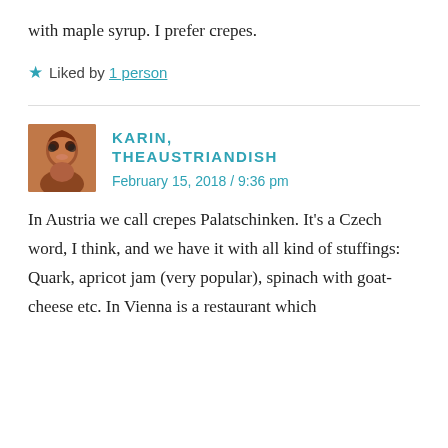with maple syrup. I prefer crepes.
Liked by 1 person
KARIN, THEAUSTRIANDISH
February 15, 2018 / 9:36 pm
In Austria we call crepes Palatschinken. It's a Czech word, I think, and we have it with all kind of stuffings: Quark, apricot jam (very popular), spinach with goat-cheese etc. In Vienna is a restaurant which